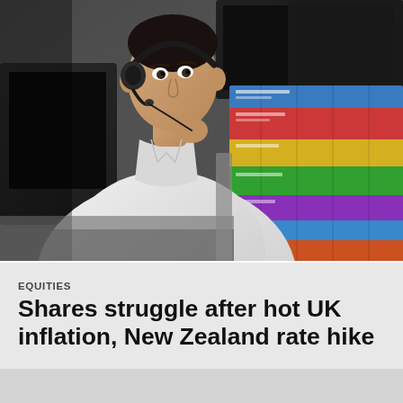[Figure (photo): A young man wearing a white shirt and headset sits at a trading desk with multiple monitors, including a colorful financial data screen on the right. The background shows a busy trading floor environment.]
EQUITIES
Shares struggle after hot UK inflation, New Zealand rate hike